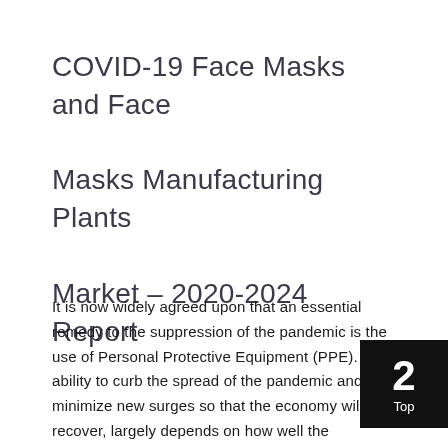COVID-19 Face Masks and Face Masks Manufacturing Plants Market – 2020-2024 Report
It is now widely agreed upon that an essential remedy to the suppression of the pandemic is the use of Personal Protective Equipment (PPE). The ability to curb the spread of the pandemic and minimize new surges so that the economy will recover, largely depends on how well the healthcare community and governments will educate their citizens to use